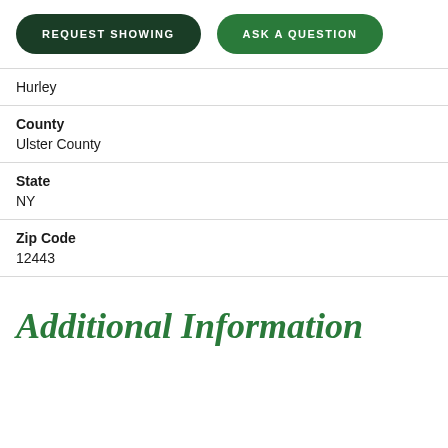[Figure (other): Two pill-shaped green buttons: REQUEST SHOWING and ASK A QUESTION]
Hurley
| County | Ulster County |
| State | NY |
| Zip Code | 12443 |
Additional Information